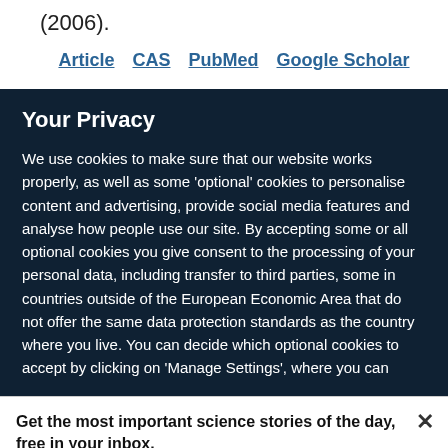(2006).
Article   CAS   PubMed   Google Scholar
Your Privacy
We use cookies to make sure that our website works properly, as well as some 'optional' cookies to personalise content and advertising, provide social media features and analyse how people use our site. By accepting some or all optional cookies you give consent to the processing of your personal data, including transfer to third parties, some in countries outside of the European Economic Area that do not offer the same data protection standards as the country where you live. You can decide which optional cookies to accept by clicking on 'Manage Settings', where you can
Get the most important science stories of the day, free in your inbox.
Sign up for Nature Briefing